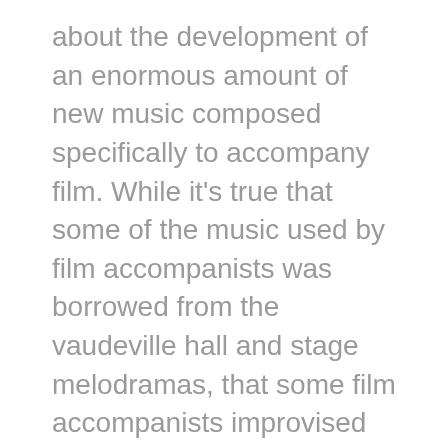about the development of an enormous amount of new music composed specifically to accompany film. While it’s true that some of the music used by film accompanists was borrowed from the vaudeville hall and stage melodramas, that some film accompanists improvised their scores, and that some film studios commissioned scores from composers for individual films, the majority of cinema musicians in the 1910s and 1920s relied heavily on a new genre, called photoplay music, for creating musical accompaniments to motion pictures of all lengths. Photoplay music consisted of short, evocative character pieces that could be easily strung together to create what is